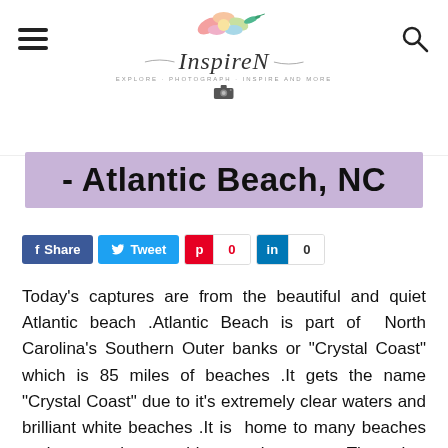InspireN
- Atlantic Beach, NC
Share  Tweet  0  0
Today's captures are from the beautiful and quiet Atlantic beach .Atlantic Beach is part of  North Carolina's Southern Outer banks or "Crystal Coast" which is 85 miles of beaches .It gets the name "Crystal Coast" due to it's extremely clear waters and brilliant white beaches .It is  home to many beaches and a popular seaside vacation town .The other beaches of the crystal coast are Fort Macon, Atlantic beach, Pine knoll shores, Indian beach and Emerald